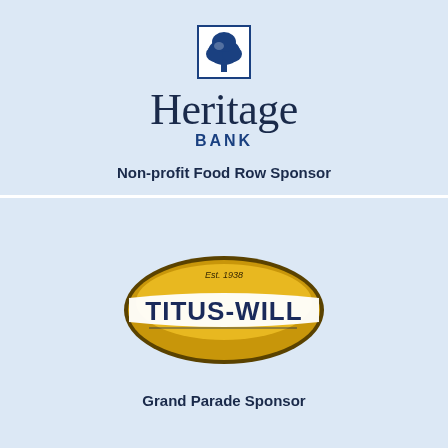[Figure (logo): Heritage Bank logo with tree icon, 'Heritage' in large serif font and 'BANK' in bold blue caps below]
Non-profit Food Row Sponsor
[Figure (logo): Titus-Will automotive dealership logo, oval gold/yellow badge with 'Est. 1938' and 'TITUS-WILL' text in bold white letters]
Grand Parade Sponsor
Foot and Ankle Surgical Associates
Olympia Federal
Red Wind Casino